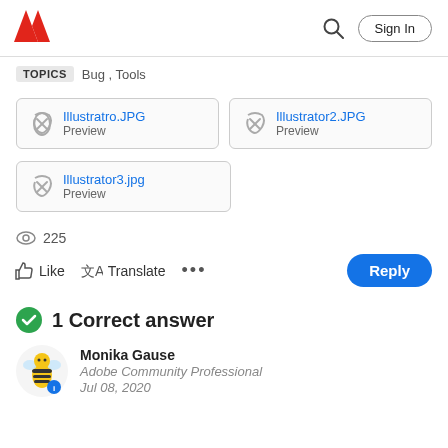[Figure (logo): Adobe logo (red A shape) in header]
Sign In
TOPICS  Bug , Tools
[Figure (screenshot): Attachment card: Illustratro.JPG Preview]
[Figure (screenshot): Attachment card: Illustrator2.JPG Preview]
[Figure (screenshot): Attachment card: Illustrator3.jpg Preview]
225
Like  Translate  ...
Reply
1 Correct answer
Monika Gause
Adobe Community Professional
Jul 08, 2020